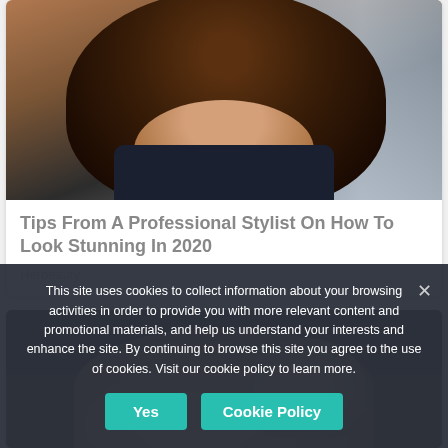[Figure (photo): Photo of a woman with long dark hair outdoors, city background]
Tips From A Professional Stylist On How To Look Stunning In 2020
Herbeauty
[Figure (photo): Photo of a couple, man kissing woman's head, dark moody setting]
This site uses cookies to collect information about your browsing activities in order to provide you with more relevant content and promotional materials, and help us understand your interests and enhance the site. By continuing to browse this site you agree to the use of cookies. Visit our cookie policy to learn more.